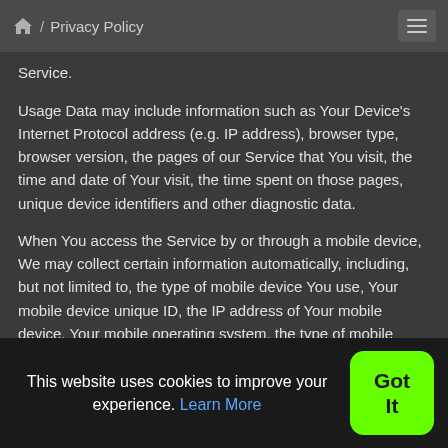/ Privacy Policy
Service.
Usage Data may include information such as Your Device's Internet Protocol address (e.g. IP address), browser type, browser version, the pages of our Service that You visit, the time and date of Your visit, the time spent on those pages, unique device identifiers and other diagnostic data.
When You access the Service by or through a mobile device, We may collect certain information automatically, including, but not limited to, the type of mobile device You use, Your mobile device unique ID, the IP address of Your mobile device, Your mobile operating system, the type of mobile
This website uses cookies to improve your experience. Learn More